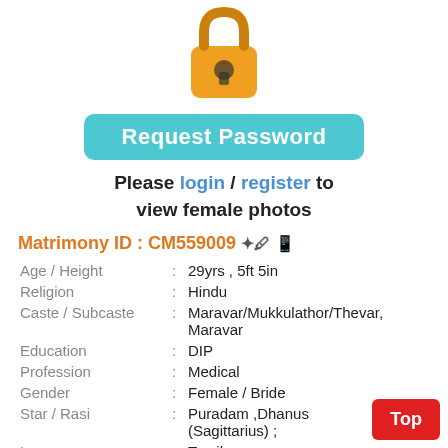[Figure (illustration): Orange lock/keyhole icon at top center]
[Figure (screenshot): Teal/cyan 'Request Password' button]
Please login / register to view female photos
Matrimony ID : CM559009
| Age / Height | : | 29yrs , 5ft 5in |
| Religion | : | Hindu |
| Caste / Subcaste | : | Maravar/Mukkulathor/Thevar, Maravar |
| Education | : | DIP |
| Profession | : | Medical |
| Gender | : | Female / Bride |
| Star / Rasi | : | Puradam ,Dhanus (Sagittarius) ; |
| Language | : | Tamil |
| Location | : | VIRUDHUNAGAR |
| District | : | Virudhunagar |
| State | : | Tamil Nadu |
Top